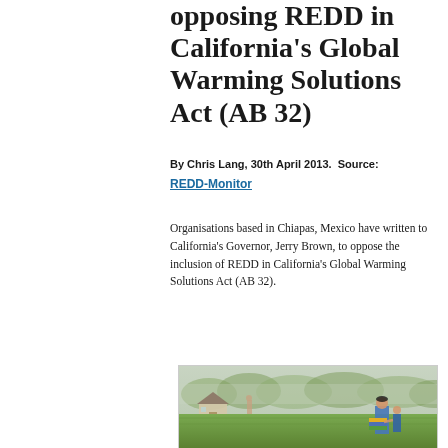opposing REDD in California's Global Warming Solutions Act (AB 32)
By Chris Lang, 30th April 2013.  Source: REDD-Monitor
Organisations based in Chiapas, Mexico have written to California's Governor, Jerry Brown, to oppose the inclusion of REDD in California's Global Warming Solutions Act (AB 32).
[Figure (photo): A misty outdoor scene in what appears to be a rural area in Chiapas, Mexico. A woman and child are visible in the foreground on a grassy field, with a house and trees visible in the foggy background.]